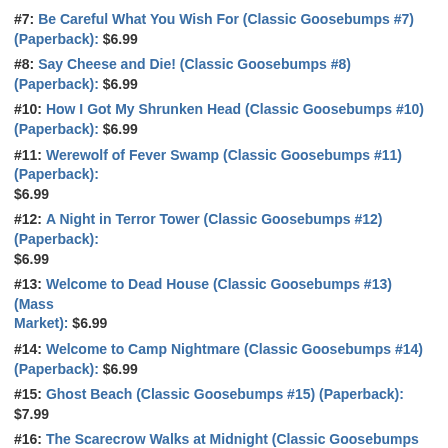#7: Be Careful What You Wish For (Classic Goosebumps #7) (Paperback): $6.99
#8: Say Cheese and Die! (Classic Goosebumps #8) (Paperback): $6.99
#10: How I Got My Shrunken Head (Classic Goosebumps #10) (Paperback): $6.99
#11: Werewolf of Fever Swamp (Classic Goosebumps #11) (Paperback): $6.99
#12: A Night in Terror Tower (Classic Goosebumps #12) (Paperback): $6.99
#13: Welcome to Dead House (Classic Goosebumps #13) (Mass Market): $6.99
#14: Welcome to Camp Nightmare (Classic Goosebumps #14) (Paperback): $6.99
#15: Ghost Beach (Classic Goosebumps #15) (Paperback): $7.99
#16: The Scarecrow Walks at Midnight (Classic Goosebumps #16) (Paperback): $6.99